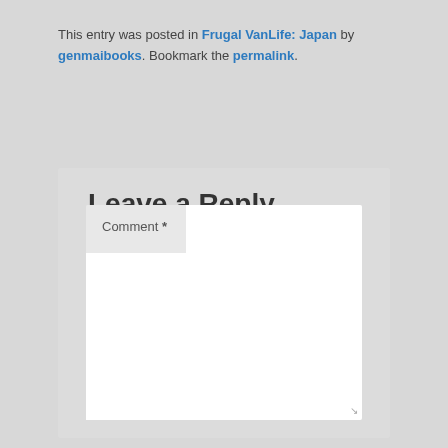This entry was posted in Frugal VanLife: Japan by genmaibooks. Bookmark the permalink.
Leave a Reply
Your email address will not be published. Required fields are marked *